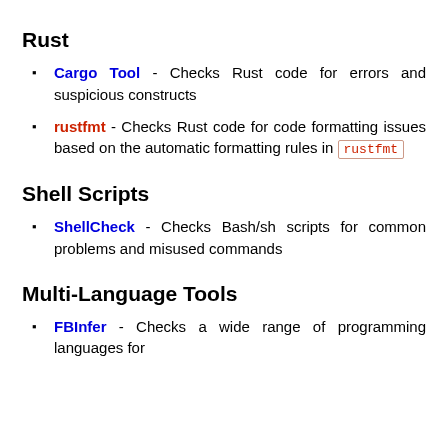Rust
Cargo Tool - Checks Rust code for errors and suspicious constructs
rustfmt - Checks Rust code for code formatting issues based on the automatic formatting rules in rustfmt
Shell Scripts
ShellCheck - Checks Bash/sh scripts for common problems and misused commands
Multi-Language Tools
FBInfer - Checks a wide range of programming languages for